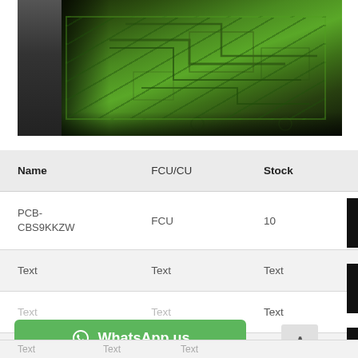[Figure (photo): Photo of an open electronic device showing a green PCB (printed circuit board) with circuit traces. The board is mounted inside a black frame/casing with blue wires visible on the left side.]
| Name | FCU/CU | Stock |
| --- | --- | --- |
| PCB-CBS9KKZW | FCU | 10 |
| Text | Text | Text |
| Text | Text | Text |
| Text | Text | Text |